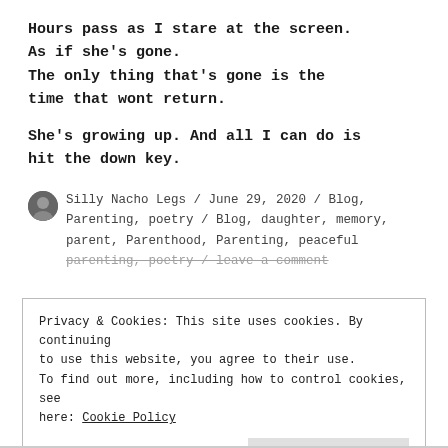Hours pass as I stare at the screen.
As if she's gone.
The only thing that's gone is the time that wont return.
She's growing up. And all I can do is hit the down key.
Silly Nacho Legs / June 29, 2020 / Blog, Parenting, poetry / Blog, daughter, memory, parent, Parenthood, Parenting, peaceful parenting, poetry / leave a comment
Privacy & Cookies: This site uses cookies. By continuing to use this website, you agree to their use.
To find out more, including how to control cookies, see here: Cookie Policy
Close and accept